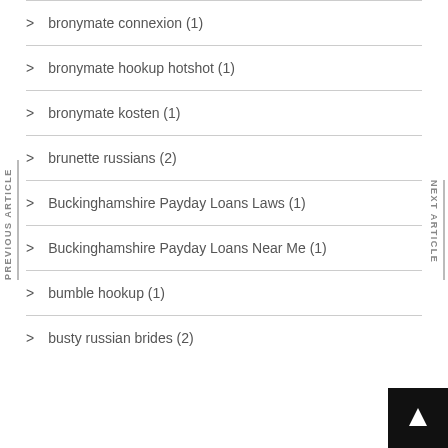bronymate connexion (1)
bronymate hookup hotshot (1)
bronymate kosten (1)
brunette russians (2)
Buckinghamshire Payday Loans Laws (1)
Buckinghamshire Payday Loans Near Me (1)
bumble hookup (1)
busty russian brides (2)